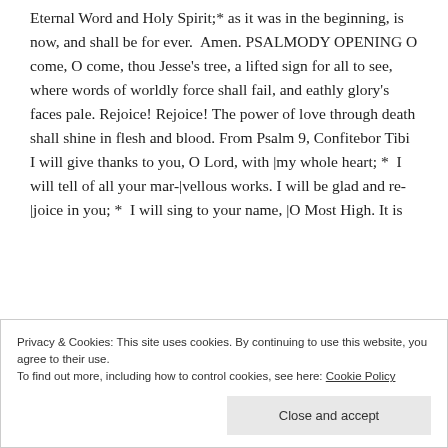Eternal Word and Holy Spirit;* as it was in the beginning, is now, and shall be for ever.  Amen. PSALMODY OPENING O come, O come, thou Jesse's tree, a lifted sign for all to see, where words of worldly force shall fail, and eathly glory's faces pale. Rejoice! Rejoice! The power of love through death shall shine in flesh and blood. From Psalm 9, Confitebor Tibi I will give thanks to you, O Lord, with |my whole heart; *  I will tell of all your mar-|vellous works. I will be glad and re-|joice in you; *  I will sing to your name, |O Most High. It is
Privacy & Cookies: This site uses cookies. By continuing to use this website, you agree to their use.
To find out more, including how to control cookies, see here: Cookie Policy